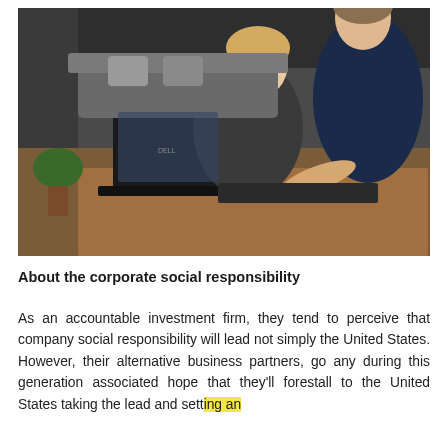[Figure (photo): Two women in business attire looking at a laptop computer on a table in an office/lounge setting. One woman is seated, the other standing and pointing at the screen.]
About the corporate social responsibility
As an accountable investment firm, they tend to perceive that company social responsibility will lead not simply the United States. However, their alternative business partners, go any during this generation associated hope that they'll forestall to the United States taking the lead and setting an example.